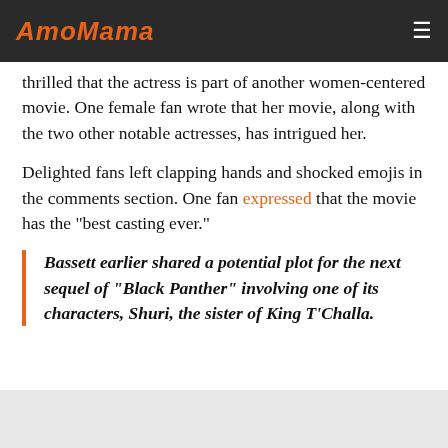AmoMama
thrilled that the actress is part of another women-centered movie. One female fan wrote that her movie, along with the two other notable actresses, has intrigued her.
Delighted fans left clapping hands and shocked emojis in the comments section. One fan expressed that the movie has the "best casting ever."
Bassett earlier shared a potential plot for the next sequel of "Black Panther" involving one of its characters, Shuri, the sister of King T'Challa.